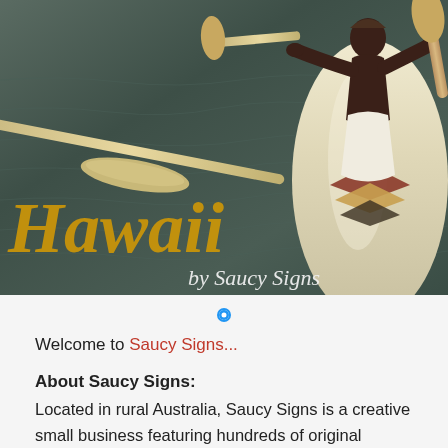[Figure (illustration): Vintage-style painted illustration of a Hawaiian outrigger canoe paddler on dark ocean water, with the text 'Hawaii' in large golden italic letters and 'by Saucy Signs' in white italic script at the bottom right.]
Welcome to Saucy Signs...
About Saucy Signs:
Located in rural Australia, Saucy Signs is a creative small business featuring hundreds of original handcrafted wooden signs for you to choose from. Our signs are created in three stages by hand and ar...